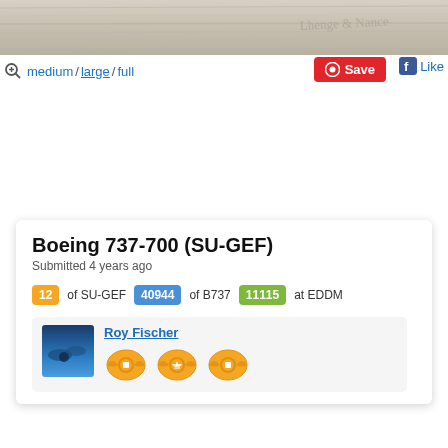[Figure (photo): Weathered wood texture header image with faint handwriting]
medium / large / full
Save
Like
Boeing 737-700 (SU-GEF)
Submitted 4 years ago
12 of SU-GEF   40944 of B737   11115 at EDDM
Roy Fischer